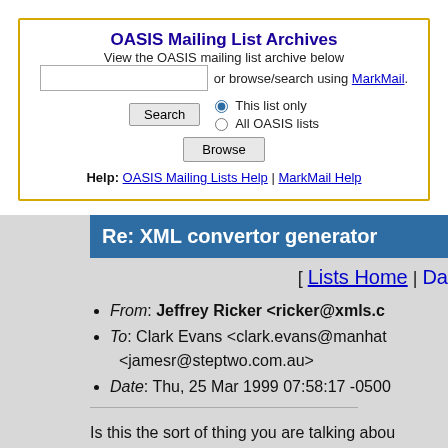OASIS Mailing List Archives
View the OASIS mailing list archive below or browse/search using MarkMail.
Help: OASIS Mailing Lists Help | MarkMail Help
Re: XML convertor generator
[ Lists Home | Da
From: Jeffrey Ricker <ricker@xmls.c
To: Clark Evans <clark.evans@manhat <jamesr@steptwo.com.au>
Date: Thu, 25 Mar 1999 07:58:17 -0500
Is this the sort of thing you are talking abou
http://www.xmls.com/news/exeter.html